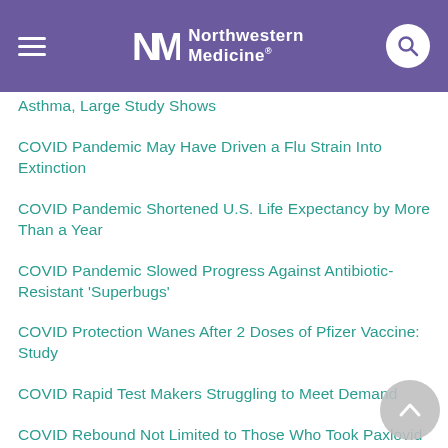Northwestern Medicine
Asthma, Large Study Shows
COVID Pandemic May Have Driven a Flu Strain Into Extinction
COVID Pandemic Shortened U.S. Life Expectancy by More Than a Year
COVID Pandemic Slowed Progress Against Antibiotic-Resistant 'Superbugs'
COVID Protection Wanes After 2 Doses of Pfizer Vaccine: Study
COVID Rapid Test Makers Struggling to Meet Demand
COVID Rebound Not Limited to Those Who Took Paxlovid
COVID Reinfections Are Now Common. Will